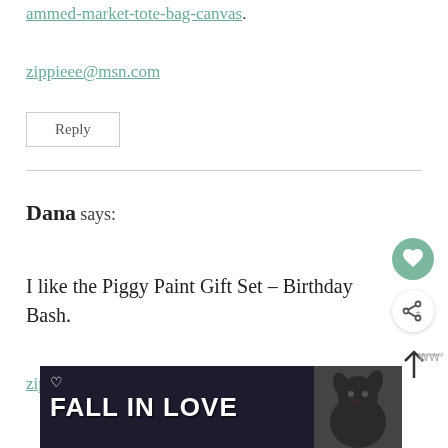ammed-market-tote-bag-canvas.
zippieee@msn.com
Reply
Dana says:
I like the Piggy Paint Gift Set – Birthday Bash.
zippieee@msn.com
[Figure (screenshot): Advertisement banner showing 'FALL IN LOVE' text with a dog image on dark background]